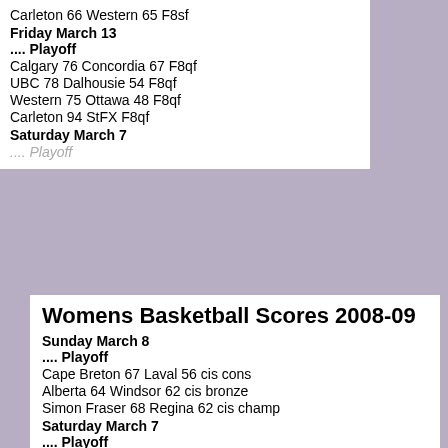Carleton 66 Western 65 F8sf
Friday March 13
.... Playoff
Calgary 76 Concordia 67 F8qf
UBC 78 Dalhousie 54 F8qf
Western 75 Ottawa 48 F8qf
Carleton 94 StFX F8qf
Saturday March 7
Womens Basketball Scores 2008-09
Sunday March 8
.... Playoff
Cape Breton 67 Laval 56 cis cons
Alberta 64 Windsor 62 cis bronze
Simon Fraser 68 Regina 62 cis champ
Saturday March 7
.... Playoff
Laval 75 Ottawa 58
Cape Breton 72 Saskatchewan 63
Simon Fraser 78 Alberta 62 cis sf
Regina 86 Windsor 68 cis sf
Friday March 6
.... Playoff
Simon Fraser 89 Ottawa 42 cis qf
Alberta 84 Laval 64 cis qf
Regina 66 Cape Breton 51 cis qf
Windsor 63 Saskatchewan 55 cis qf
Sunday March 1